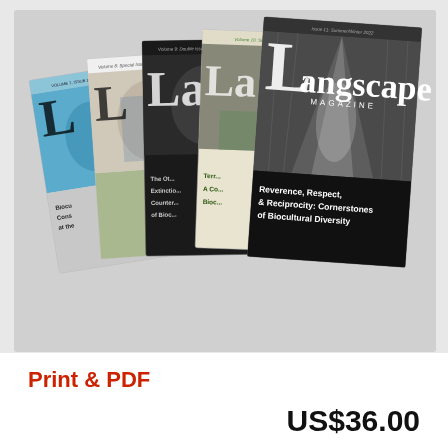[Figure (illustration): A stack of Langscape Magazine issues fanned out, showing 5 covers — from left to right: a blue-covered issue, a white/light-colored issue, a black-covered issue, a green/olive colored issue, and the front issue which is black-and-white photo of the interior of a large building with steam/light, titled 'Langscape MAGAZINE' with text 'Reverence, Respect, & Reciprocity: Cornerstones of Biocultural Diversity'. Earlier issues show partial text like 'Biocultural Conservation at the...', 'The Ot... Extinction... Counter... of Bioc...', 'Terr... A C... Bio...'. Issue headers include volume/issue lines in small text.]
Print & PDF
US$36.00